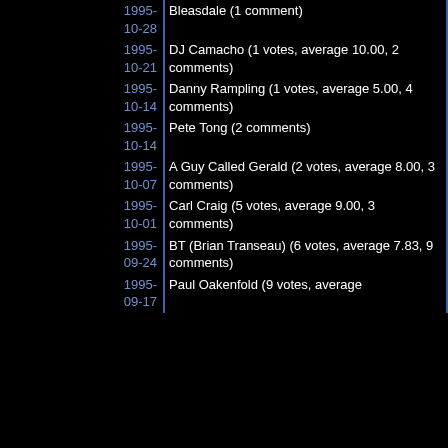| Date | Entry |
| --- | --- |
| 1995-10-28 | Bleasdale (1 comment) |
| 1995-10-21 | DJ Camacho (1 votes, average 10.00, 2 comments) |
| 1995-10-14 | Danny Rampling (1 votes, average 5.00, 4 comments) |
| 1995-10-14 | Pete Tong (2 comments) |
| 1995-10-07 | A Guy Called Gerald (2 votes, average 8.00, 3 comments) |
| 1995-10-01 | Carl Craig (5 votes, average 9.00, 3 comments) |
| 1995-09-24 | BT (Brian Transeau) (6 votes, average 7.83, 9 comments) |
| 1995-09-17 | Paul Oakenfold (9 votes, average |